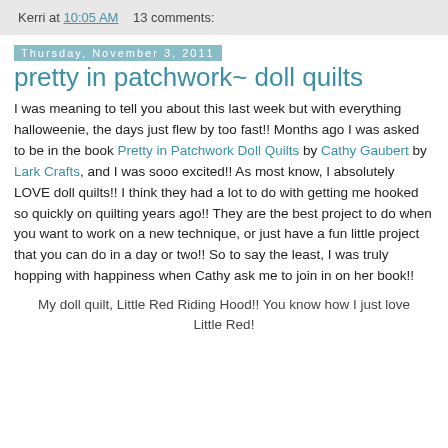Kerri at 10:05 AM   13 comments:
Thursday, November 3, 2011
pretty in patchwork~ doll quilts
I was meaning to tell you about this last week but with everything halloweenie, the days just flew by too fast!! Months ago I was asked to be in the book Pretty in Patchwork Doll Quilts by Cathy Gaubert by Lark Crafts, and I was sooo excited!! As most know, I absolutely LOVE doll quilts!! I think they had a lot to do with getting me hooked so quickly on quilting years ago!! They are the best project to do when you want to work on a new technique, or just have a fun little project that you can do in a day or two!! So to say the least, I was truly hopping with happiness when Cathy ask me to join in on her book!!
My doll quilt, Little Red Riding Hood!! You know how I just love Little Red!